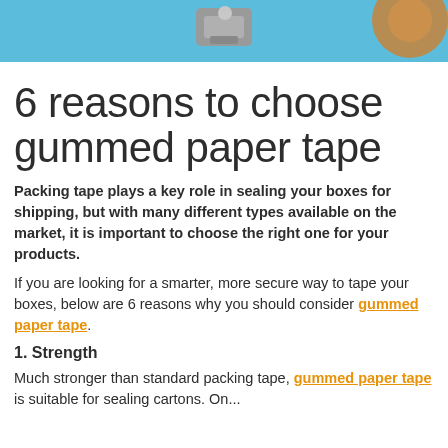[Figure (photo): Photo strip at top showing a tape dispenser on a blue background, partially cropped]
6 reasons to choose gummed paper tape
Packing tape plays a key role in sealing your boxes for shipping, but with many different types available on the market, it is important to choose the right one for your products.
If you are looking for a smarter, more secure way to tape your boxes, below are 6 reasons why you should consider gummed paper tape.
1. Strength
Much stronger than standard packing tape, gummed paper tape is suitable for sealing cartons. On...